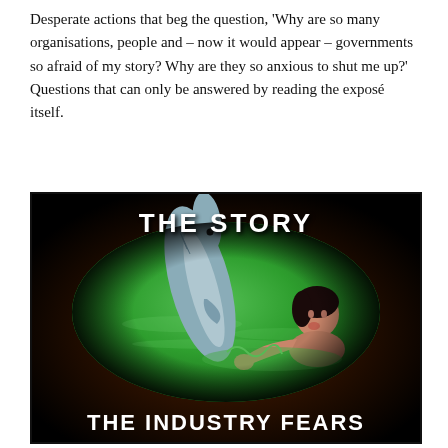Desperate actions that beg the question, 'Why are so many organisations, people and – now it would appear – governments so afraid of my story? Why are they so anxious to shut me up?' Questions that can only be answered by reading the exposé itself.
[Figure (photo): Promotional image with dark reddish-brown background and oval-framed photo of a woman in water interacting with a dolphin. Text at top reads 'THE STORY' and at bottom reads 'THE INDUSTRY FEARS'.]